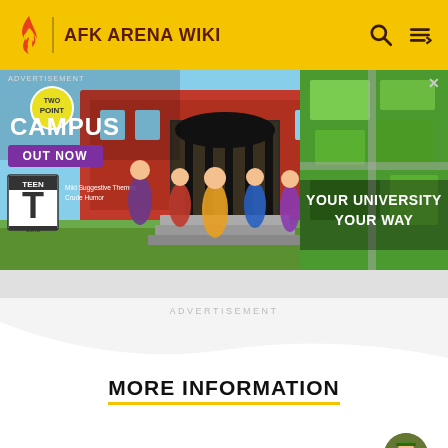AFK ARENA WIKI
[Figure (screenshot): Advertisement banner for Two Point Campus game — shows game characters, 'TWO POINT CAMPUS', 'OUT NOW', ESRB Teen rating, 'YOUR UNIVERSITY YOUR WAY' text, SEGA logo]
ADVERTISEMENT
MORE INFORMATION
Top Contributors
Comments (0)